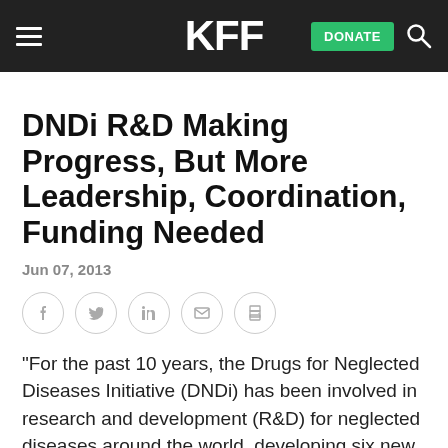KFF
DNDi R&D Making Progress, But More Leadership, Coordination, Funding Needed
Jun 07, 2013
[Figure (other): Social sharing icons row: Facebook, Twitter, LinkedIn, Email, Print — each in a light gray circle outline]
“For the past 10 years, the Drugs for Neglected Diseases Initiative (DNDi) has been involved in research and development (R&D) for neglected diseases around the world, developing six new treatments for malaria, sleeping sickness, kala